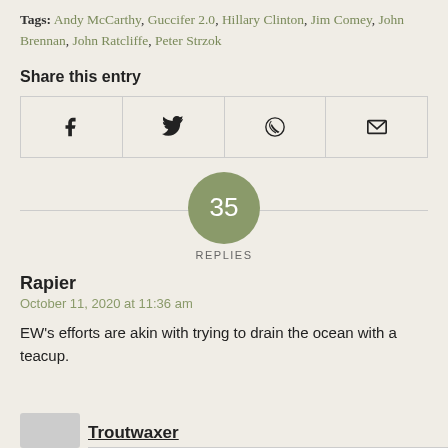Tags: Andy McCarthy, Guccifer 2.0, Hillary Clinton, Jim Comey, John Brennan, John Ratcliffe, Peter Strzok
Share this entry
| Facebook | Twitter | WhatsApp | Email |
| --- | --- | --- | --- |
| f icon | bird icon | circle icon | envelope icon |
[Figure (infographic): Green circle with the number 35 inside, labeled REPLIES below]
Rapier
October 11, 2020 at 11:36 am
EW's efforts are akin with trying to drain the ocean with a teacup.
Troutwaxer